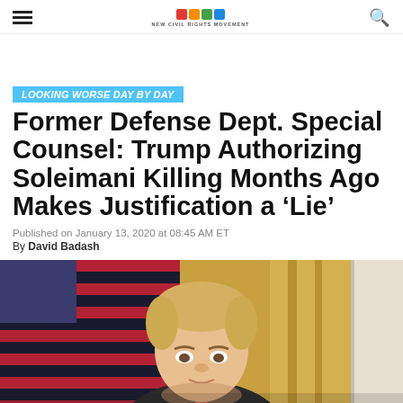NEW CIVIL RIGHTS MOVEMENT
LOOKING WORSE DAY BY DAY
Former Defense Dept. Special Counsel: Trump Authorizing Soleimani Killing Months Ago Makes Justification a ‘Lie’
Published on January 13, 2020 at 08:45 AM ET
By David Badash
[Figure (photo): Photo of Donald Trump in front of American flags in what appears to be the White House East Room with gold curtains]